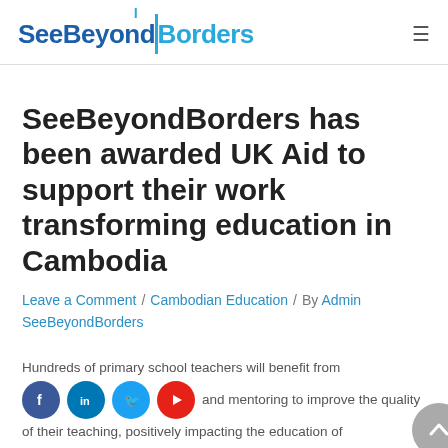SeeBeyondBorders
SeeBeyondBorders has been awarded UK Aid to support their work transforming education in Cambodia
Leave a Comment / Cambodian Education / By Admin SeeBeyondBorders
Hundreds of primary school teachers will benefit from enhanced training and mentoring to improve the quality of their teaching, positively impacting the education of